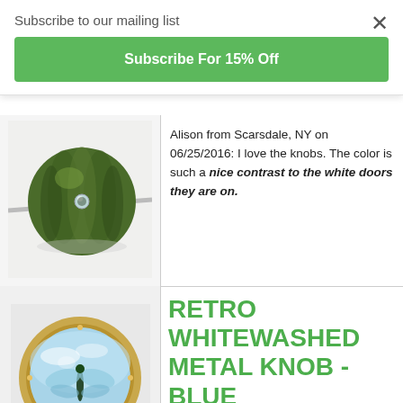Subscribe to our mailing list
×
Subscribe For 15% Off
[Figure (photo): Green ceramic pumpkin-shaped cabinet knob with a crystal center, mounted on a metal rod, photographed on white background]
Alison from Scarsdale, NY on 06/25/2016: I love the knobs. The color is such a nice contrast to the white doors they are on.
RETRO WHITEWASHED METAL KNOB - BLUE DRAGONFLY
[Figure (photo): Round glass knob with a blue dragonfly illustration inside, surrounded by a gold decorative rim, photographed on light background]